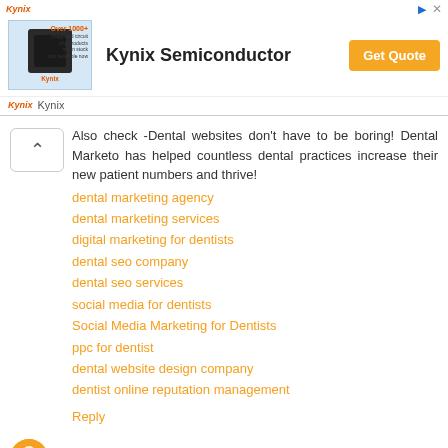[Figure (other): Kynix Semiconductor advertisement banner with chip image, Get Quote button, and Kynix logo footer]
Also check -Dental websites don't have to be boring! Dental Marketo has helped countless dental practices increase their new patient numbers and thrive!
dental marketing agency
dental marketing services
digital marketing for dentists
dental seo company
dental seo services
social media for dentists
Social Media Marketing for Dentists
ppc for dentist
dental website design company
dentist online reputation management
Reply
Zygoma ZAGA Centers November 2, 2020 at 10:44 PM